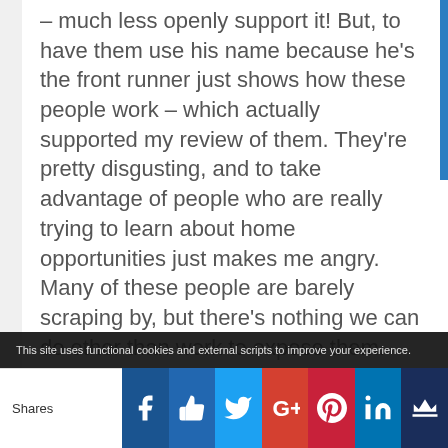– much less openly support it! But, to have them use his name because he's the front runner just shows how these people work – which actually supported my review of them. They're pretty disgusting, and to take advantage of people who are really trying to learn about home opportunities just makes me angry. Many of these people are barely scraping by, but there's nothing we can do other than work to expose them. So, if you, or anyone has any other product they'd like me to review, please send it along! Thanks for your
This site uses functional cookies and external scripts to improve your experience.
[Figure (infographic): Social sharing bar with Shares label and buttons: Facebook (dark), thumbs up, Twitter bird, Google+, Pinterest P, LinkedIn in, crown/sumo icon]